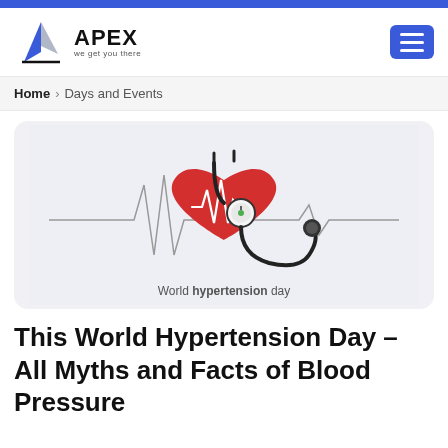[Figure (logo): APEX 'we get you there' logo with blue arrow/sail graphic]
Home > Days and Events
[Figure (illustration): World hypertension day illustration: red heart with stethoscope and ECG line on light background. Caption: 'World hypertension day']
World hypertension day
This World Hypertension Day – All Myths and Facts of Blood Pressure